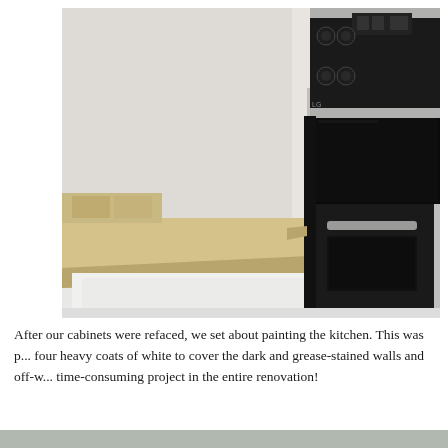[Figure (photo): Close-up photo of a kitchen showing a stainless steel electric stove/range with a black glass cooktop and black digital control panel, next to a light tan/beige laminate countertop. The countertop is bare and the cabinet below is white. The background shows a white wall.]
After our cabinets were refaced, we set about painting the kitchen. This was p... four heavy coats of white to cover the dark and grease-stained walls and off-w... time-consuming project in the entire renovation!